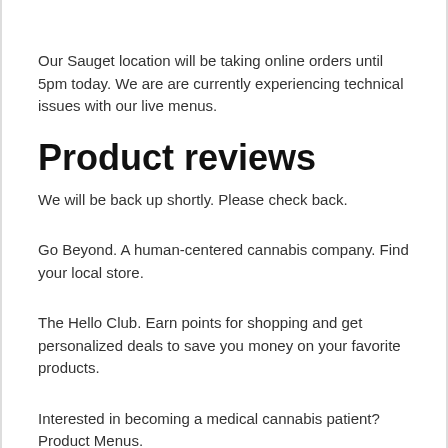Our Sauget location will be taking online orders until 5pm today. We are are currently experiencing technical issues with our live menus.
Product reviews
We will be back up shortly. Please check back.
Go Beyond. A human-centered cannabis company. Find your local store.
The Hello Club. Earn points for shopping and get personalized deals to save you money on your favorite products.
Interested in becoming a medical cannabis patient? Product Menus.